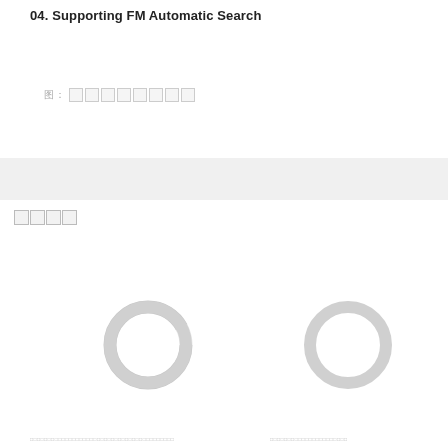04. Supporting FM Automatic Search
图：　□□□□□□□□
[Figure (other): Grey horizontal band divider]
□□□□
[Figure (other): Two circular ring icons representing FM tuner dial indicators, positioned side by side]
□□□□□□□□□□□□□□□□□□□□□□□□□□□□□□□
□□□□□□□□□□□□□□